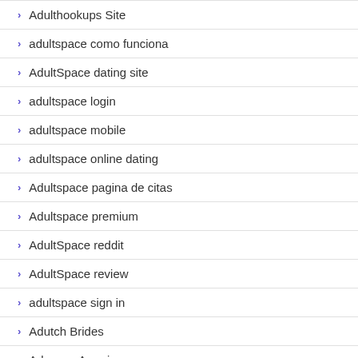Adulthookups Site
adultspace como funciona
AdultSpace dating site
adultspace login
adultspace mobile
adultspace online dating
Adultspace pagina de citas
Adultspace premium
AdultSpace reddit
AdultSpace review
adultspace sign in
Adutch Brides
Advance America
Advance America Loans